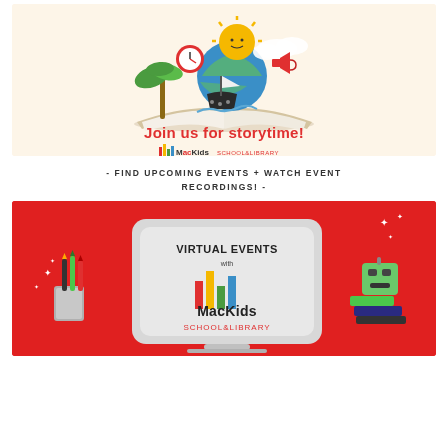[Figure (illustration): Storytime banner with cartoon sun, palm trees, pirate ship on book, reading 'Join us for storytime!' with MacKids School & Library logo, on cream background]
- FIND UPCOMING EVENTS + WATCH EVENT RECORDINGS! -
[Figure (illustration): Virtual Events with MacKids School & Library banner on red background with laptop, pencils, and books]